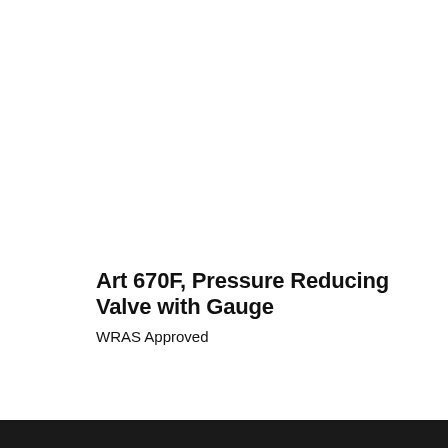Art 670F, Pressure Reducing Valve with Gauge
WRAS Approved